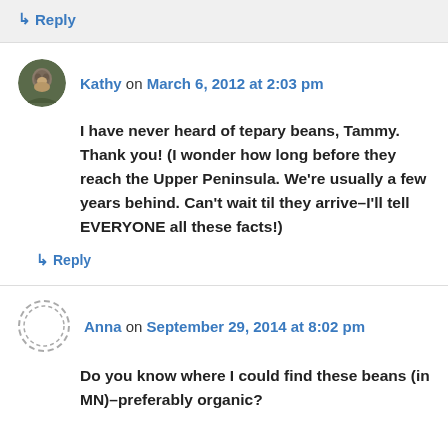↳ Reply
Kathy on March 6, 2012 at 2:03 pm
I have never heard of tepary beans, Tammy. Thank you! (I wonder how long before they reach the Upper Peninsula. We're usually a few years behind. Can't wait til they arrive–I'll tell EVERYONE all these facts!)
↳ Reply
Anna on September 29, 2014 at 8:02 pm
Do you know where I could find these beans (in MN)–preferably organic?